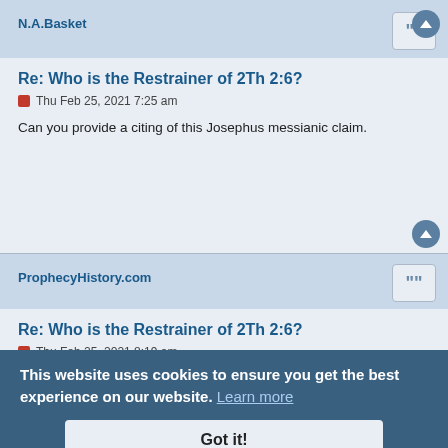N.A.Basket
Re: Who is the Restrainer of 2Th 2:6?
Thu Feb 25, 2021 7:25 am
Can you provide a citing of this Josephus messianic claim.
ProphecyHistory.com
Re: Who is the Restrainer of 2Th 2:6?
Thu Feb 25, 2021 8:19 am
http://yeshuajescontext.com/2010/11/jose....h-concept/...
From:
https://ccel.org/ccel/josephus/complete....viii.html
"Thou, O Vespasian, thinkest no more than that thou hast taken Josephus
This website uses cookies to ensure you get the best experience on our website. Learn more
Got it!